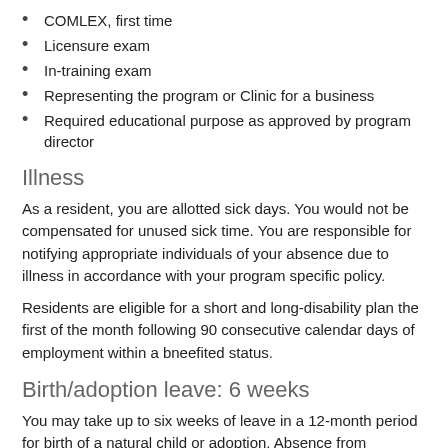COMLEX, first time
Licensure exam
In-training exam
Representing the program or Clinic for a business
Required educational purpose as approved by program director
Illness
As a resident, you are allotted sick days. You would not be compensated for unused sick time. You are responsible for notifying appropriate individuals of your absence due to illness in accordance with your program specific policy.
Residents are eligible for a short and long-disability plan the first of the month following 90 consecutive calendar days of employment within a bneefited status.
Birth/adoption leave: 6 weeks
You may take up to six weeks of leave in a 12-month period for birth of a natural child or adoption. Absence from residency beyond six weeks may require an extension of the program to meet board eligibility criteria.